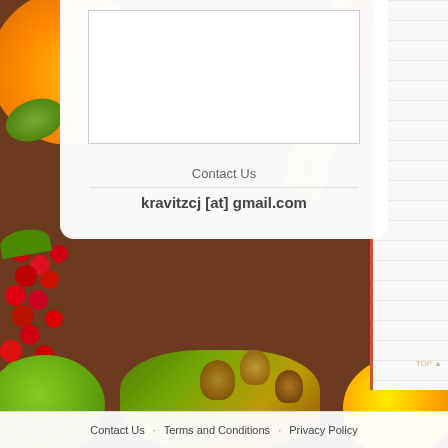[Figure (photo): Colorful autumn food background with orange fruits, red berries, green apples, acorns, nuts, and a wooden cutting board/notebook on the right side]
Contact Us
kravitzcj [at] gmail.com
Contact Us · Terms and Conditions · Privacy Policy